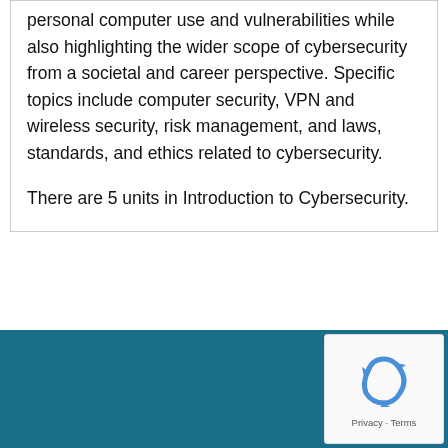personal computer use and vulnerabilities while also highlighting the wider scope of cybersecurity from a societal and career perspective. Specific topics include computer security, VPN and wireless security, risk management, and laws, standards, and ethics related to cybersecurity.
There are 5 units in Introduction to Cybersecurity.
[Figure (other): reCAPTCHA badge with recycling-style arrow logo and Privacy · Terms text]